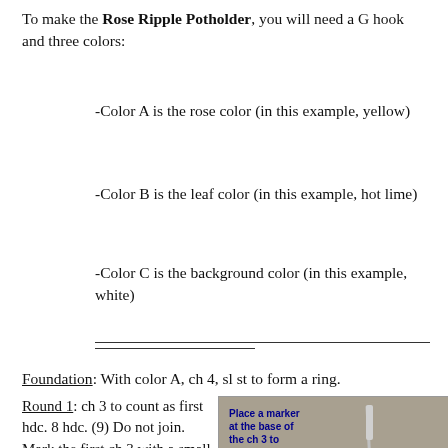To make the Rose Ripple Potholder, you will need a G hook and three colors:
-Color A is the rose color (in this example, yellow)
-Color B is the leaf color (in this example, hot lime)
-Color C is the background color (in this example, white)
Foundation: With color A, ch 4, sl st to form a ring.
Round 1: ch 3 to count as first hdc. 8 hdc. (9) Do not join. Mark the first ch 3 with a small piece of
[Figure (photo): Photo of crochet hook with yellow yarn showing the start of a round, with blue bold text overlay reading: Place a marker at the base of the ch 3 to mark the start of the round.]